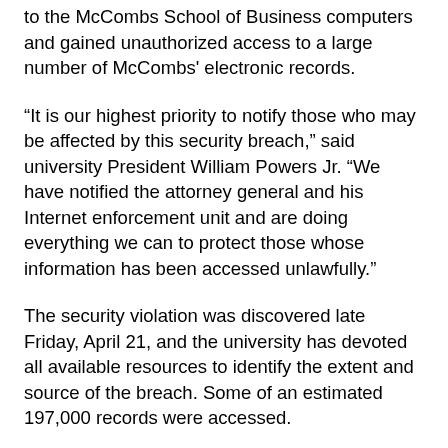to the McCombs School of Business computers and gained unauthorized access to a large number of McCombs' electronic records.
“It is our highest priority to notify those who may be affected by this security breach,” said university President William Powers Jr. “We have notified the attorney general and his Internet enforcement unit and are doing everything we can to protect those whose information has been accessed unlawfully.”
The security violation was discovered late Friday, April 21, and the university has devoted all available resources to identify the extent and source of the breach. Some of an estimated 197,000 records were accessed.
An investigation has determined that information from the business school’s computer system was obtained as early as April 11, including some Social Security numbers and possibly other